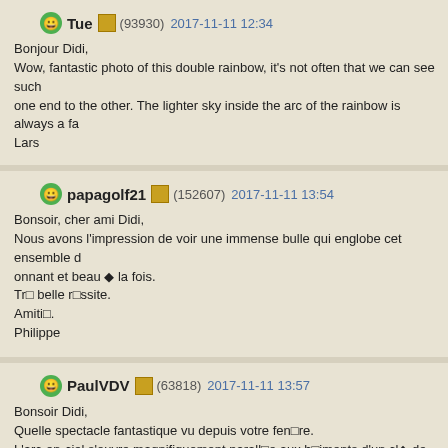Tue (93930) 2017-11-11 12:34
Bonjour Didi,
Wow, fantastic photo of this double rainbow, it's not often that we can see such one end to the other. The lighter sky inside the arc of the rainbow is always a fa
Lars
papagolf21 (152607) 2017-11-11 13:54
Bonsoir, cher ami Didi,
Nous avons l'impression de voir une immense bulle qui englobe cet ensemble o onnant et beau ◆ la fois.
Tr◻ belle r◻ssite.
Amiti◻.
Philippe
PaulVDV (63818) 2017-11-11 13:57
Bonsoir Didi,
Quelle spectacle fantastique vu depuis votre fen◻re.
L'arc-en-ciel s'ouvre magnifiquement parall◻e aux b◻iments d'un cl◆ de l'image.
Une grande diff◻ence de luminosit◆ ◆ l'int◻ieur et ◆ l'ext◻ieur de l'arc en ciel.
Amicalement, Paul